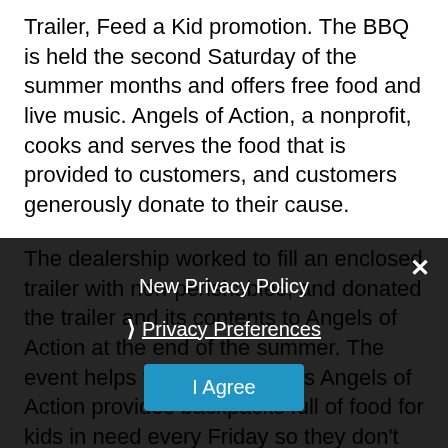Trailer, Feed a Kid promotion. The BBQ is held the second Saturday of the summer months and offers free food and live music. Angels of Action, a nonprofit, cooks and serves the food that is provided to customers, and customers generously donate to their cause.
The dealership worked to fill an enclosed trailer with non-perishables, and donated the trailer and its contents to Angels of Action at the end of the summer. The event helps the community as Angels of Action provides backpacks full of food for kids in need every Friday so they don't go hungry over the weekends. One of the Saturday events was held in conjunction with the Indian demo truck; other times coupons and discounts were offered during the BBQ. The dealer
New Privacy Policy
Privacy Preferences
I Agree